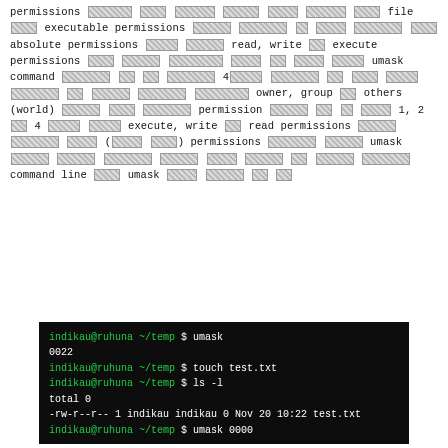permissions [redacted] [redacted] [redacted] [redacted] [redacted] [redacted] [redacted] file [redacted] executable permissions [redacted] [redacted] [redacted] [redacted] [redacted] [redacted] absolute permissions [redacted] [redacted] read, write [redacted] execute permissions [redacted] [redacted] [redacted] [redacted] [redacted] [redacted] [redacted] umask command [redacted] [redacted] [redacted] 4[redacted] [redacted] [redacted] [redacted] [redacted] [redacted] [redacted] [redacted] [redacted] [redacted] [redacted] owner, group [redacted] others (world) [redacted] [redacted] [redacted] permission [redacted] [redacted] [redacted] 1, 2 [redacted] 4 [redacted] execute, write [redacted] read permissions [redacted] [redacted] [redacted] ([redacted] [redacted]) permissions [redacted] [redacted] umask [redacted] [redacted] [redacted] [redacted] [redacted] [redacted] [redacted] [redacted] [redacted] command line [redacted] umask [redacted] [redacted] [redacted] [redacted]
[Figure (screenshot): Terminal screenshot showing umask command usage: indikau@ruhuna ~/temp $ umask; 0022; indikau@ruhuna ~/temp $ touch test.txt; indikau@ruhuna ~/temp $ ls -l; total 0; -rw-r--r-- 1 indikau indikau 0 Nov 20 10:22 test.txt; indikau@ruhuna ~/temp $ umask 0000]